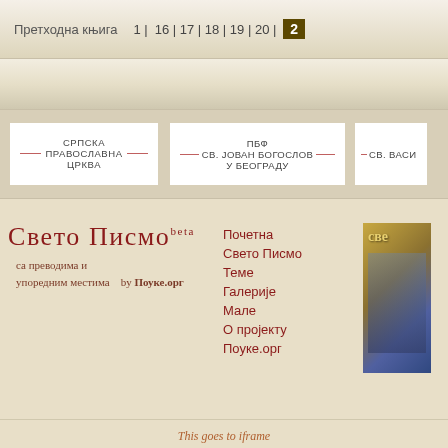Претходна књига  1 | 16 | 17 | 18 | 19 | 20 | 2
[Figure (infographic): Three sponsor cards on beige background: СРПСКА ПРАВОСЛАВНА ЦРКВА, ПБФ СВ. ЈОВАН БОГОСЛОВ У БЕОГРАДУ, СВ. ВАСИ...]
Свето Писмо beta
са преводима и упоредним местима   by Поуке.орг
Почетна
Свето Писмо
Теме
Галерије
Мале
Оројекту
Поуке.орг
This goes to iframe